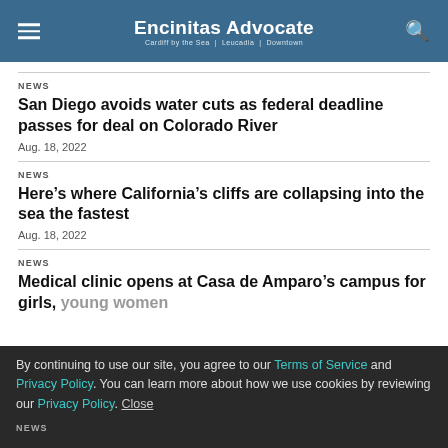Encinitas Advocate
NEWS
San Diego avoids water cuts as federal deadline passes for deal on Colorado River
Aug. 18, 2022
NEWS
Here’s where California’s cliffs are collapsing into the sea the fastest
Aug. 18, 2022
NEWS
Medical clinic opens at Casa de Amparo’s campus for girls, young women
Aug. 14, 2022
NEWS
By continuing to use our site, you agree to our Terms of Service and Privacy Policy. You can learn more about how we use cookies by reviewing our Privacy Policy. Close